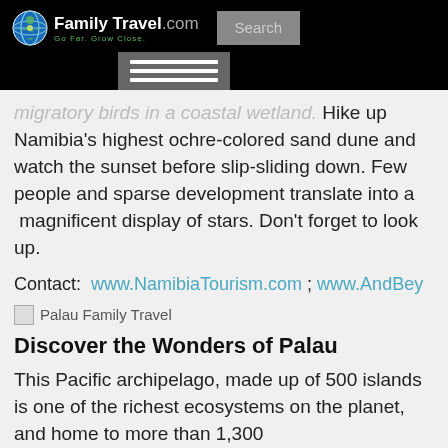FamilyTravel.com — Go Far. Grow Close. [Search bar] [Menu]
migratory birds in a coastal wetland. Hike up Namibia's highest ochre-colored sand dune and watch the sunset before slip-sliding down. Few people and sparse development translate into a  magnificent display of stars. Don't forget to look up.
Contact:  www.NamibiaTourism.com ; www.AndBey…
[Figure (photo): Palau Family Travel image placeholder]
Discover the Wonders of Palau
This Pacific archipelago, made up of 500 islands is one of the richest ecosystems on the planet, and home to more than 1,300…